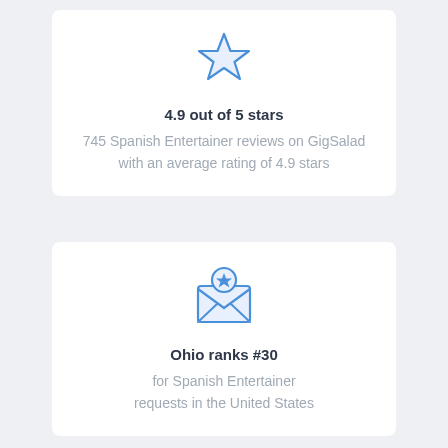[Figure (illustration): Blue outline star icon]
4.9 out of 5 stars
745 Spanish Entertainer reviews on GigSalad with an average rating of 4.9 stars
[Figure (illustration): Blue outline envelope with a star badge icon]
Ohio ranks #30
for Spanish Entertainer requests in the United States